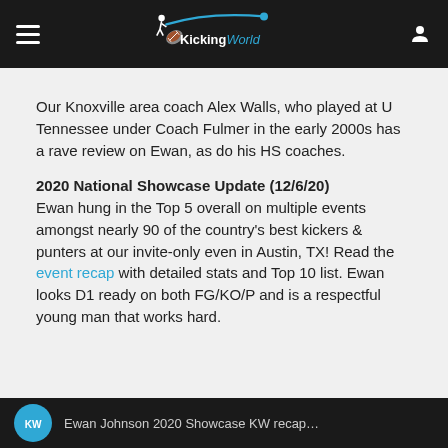KickingWorld
Our Knoxville area coach Alex Walls, who played at U Tennessee under Coach Fulmer in the early 2000s has a rave review on Ewan, as do his HS coaches.
2020 National Showcase Update (12/6/20)
Ewan hung in the Top 5 overall on multiple events amongst nearly 90 of the country's best kickers & punters at our invite-only even in Austin, TX! Read the event recap with detailed stats and Top 10 list. Ewan looks D1 ready on both FG/KO/P and is a respectful young man that works hard.
Ewan Johnson 2020 Showcase KW recap